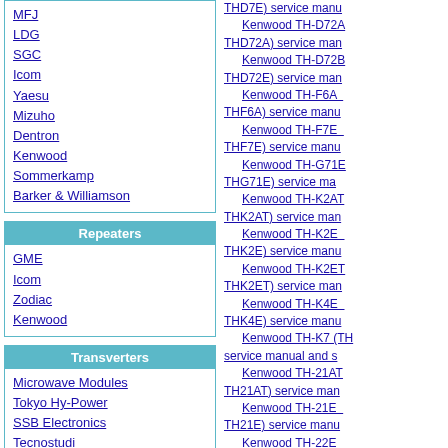MFJ
LDG
SGC
Icom
Yaesu
Mizuho
Dentron
Kenwood
Sommerkamp
Barker & Williamson
Repeaters
GME
Icom
Zodiac
Kenwood
Transverters
Microwave Modules
Tokyo Hy-Power
SSB Electronics
Tecnostudi
Kenwood
Yaesu
Minix
Meters
Diamond
Comet
THD7E) service manual
Kenwood TH-D72A
THD72A) service manual
Kenwood TH-D72B
THD72E) service manual
Kenwood TH-F6A
THF6A) service manual
Kenwood TH-F7E
THF7E) service manual
Kenwood TH-G71E
THG71E) service manual
Kenwood TH-K2AT
THK2AT) service manual
Kenwood TH-K2E
THK2E) service manual
Kenwood TH-K2ET
THK2ET) service manual
Kenwood TH-K4E
THK4E) service manual
Kenwood TH-K7 (TH service manual and s
Kenwood TH-21AT
TH21AT) service manual
Kenwood TH-21E
TH21E) service manual
Kenwood TH-22E
TH22E) service manual
Kenwood TH-25AT
TH25AT) service manual
Kenwood TH-25E
TH25E) service manual
Kenwood TH-26E